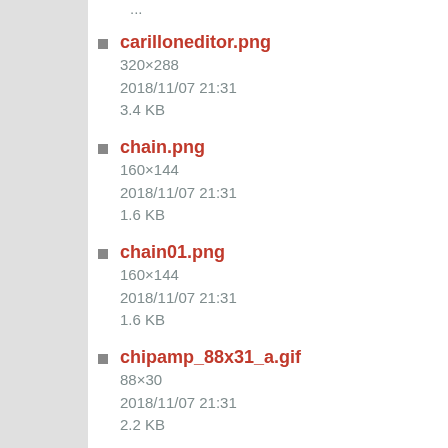carilloneditor.png
320×288
2018/11/07 21:31
3.4 KB
chain.png
160×144
2018/11/07 21:31
1.6 KB
chain01.png
160×144
2018/11/07 21:31
1.6 KB
chipamp_88x31_a.gif
88×30
2018/11/07 21:31
2.2 KB